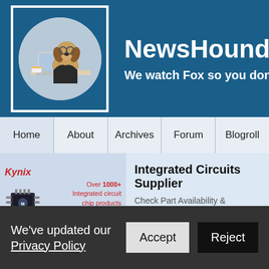[Figure (logo): NewsHounds website header with logo: a beagle wearing glasses sitting at a laptop with a coffee cup, inside a circular frame. Site name 'NewsHounds' in large bold white text, subtitle 'We watch Fox so you don't ha[ve to]' in bold white text on dark blue background.]
NewsHounds
We watch Fox so you don't ha[ve to]
Home | About | Archives | Forum | Blogroll
[Figure (screenshot): Kynix advertisement banner: Kynix logo in red italic, image of an integrated circuit chip, text 'Over 1000+ Integrated circuit chip products are in stock and available now.' in red. Right side shows 'Integrated Circuits Supplier' in bold, 'Check Part Availability & Inventory from Kynix' and 'Kynix' in gray.]
Integrated Circuits Supplier
Check Part Availability & Inventory from Kynix
Kynix
We've updated our Privacy Policy
Accept
Reject